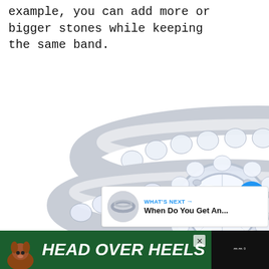example, you can add more or bigger stones while keeping the same band.
[Figure (photo): Two diamond engagement rings stacked, featuring a large central round brilliant diamond surrounded by a halo and side stones on a white gold or platinum band, photographed on white background]
[Figure (screenshot): Social media UI elements: blue heart/like button showing count of 1, and a share button]
[Figure (screenshot): WHAT'S NEXT widget showing a ring thumbnail and text 'When Do You Get An...']
[Figure (screenshot): Advertisement banner with dog image and text HEAD OVER HEELS on dark green background]